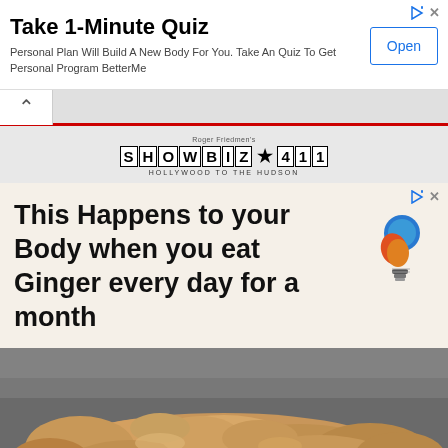[Figure (screenshot): Advertisement banner: Take 1-Minute Quiz. Personal Plan Will Build A New Body For You. Take An Quiz To Get Personal Program BetterMe. Open button.]
[Figure (screenshot): Browser navigation bar with back arrow chevron and red bottom border]
[Figure (logo): Roger Friedman's Showbiz 411 - Hollywood to the Hudson logo with block letters]
[Figure (screenshot): Advertisement: This Happens to your Body when you eat Ginger every day for a month, with lightbulb/question mark icon]
[Figure (photo): Close-up photo of ginger root pieces]